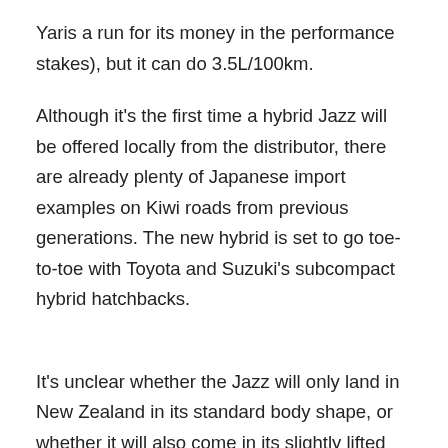Yaris a run for its money in the performance stakes), but it can do 3.5L/100km.
Although it's the first time a hybrid Jazz will be offered locally from the distributor, there are already plenty of Japanese import examples on Kiwi roads from previous generations. The new hybrid is set to go toe-to-toe with Toyota and Suzuki's subcompact hybrid hatchbacks.
It's unclear whether the Jazz will only land in New Zealand in its standard body shape, or whether it will also come in its slightly lifted 'Crossstar' guise, which brings additional cladding, ride-height, two-tone paint, and roof-rails to the party. It's also unclear whether any all-wheel drive variants will be offered locally.